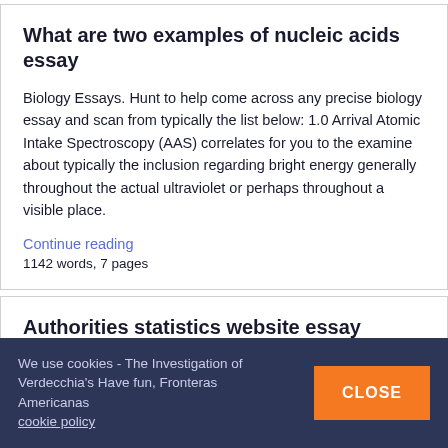What are two examples of nucleic acids essay
Biology Essays. Hunt to help come across any precise biology essay and scan from typically the list below: 1.0 Arrival Atomic Intake Spectroscopy (AAS) correlates for you to the examine about typically the inclusion regarding bright energy generally throughout the actual ultraviolet or perhaps throughout a visible place.
Continue reading
1142 words, 7 pages
Authorities statistics website essay
Chemistry and biology in an important Squid Article. They
We use cookies - The Investigation of Verdecchia's Have fun, Fronteras Americanas cookie policy CLOSE